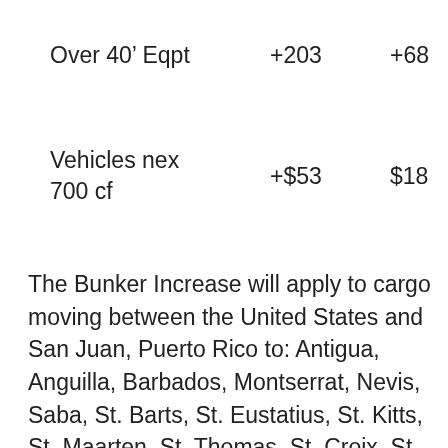| Over 40' Eqpt | +203 | +68 | $609 |
| Vehicles nex 700 cf | +$53 | $18 | $159 |
The Bunker Increase will apply to cargo moving between the United States and San Juan, Puerto Rico to: Antigua, Anguilla, Barbados, Montserrat, Nevis, Saba, St. Barts, St. Eustatius, St. Kitts, St. Maarten, St. Thomas, St. Croix, St. Vincent, Tortola, Trinidad and Virgin Gorda,  applicable to all